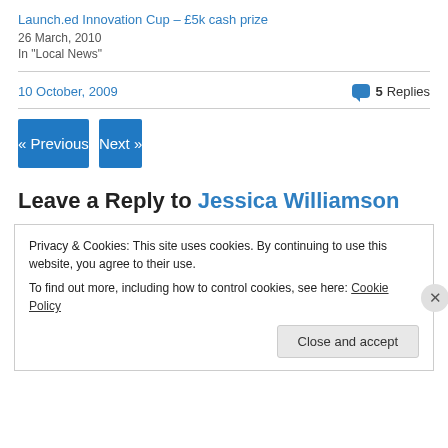Launch.ed Innovation Cup – £5k cash prize
26 March, 2010
In "Local News"
10 October, 2009
5 Replies
« Previous
Next »
Leave a Reply to Jessica Williamson
Privacy & Cookies: This site uses cookies. By continuing to use this website, you agree to their use.
To find out more, including how to control cookies, see here: Cookie Policy
Close and accept